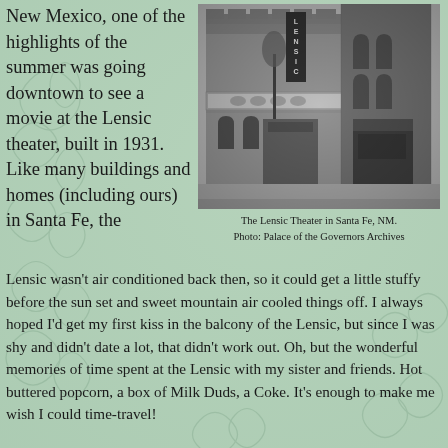New Mexico, one of the highlights of the summer was going downtown to see a movie at the Lensic theater, built in 1931. Like many buildings and homes (including ours) in Santa Fe, the
[Figure (photo): Black and white photograph of the Lensic Theater exterior in Santa Fe, NM, showing the marquee sign with 'LENSIC' vertical sign and ornate Spanish Colonial Revival architecture.]
The Lensic Theater in Santa Fe, NM.
Photo: Palace of the Governors Archives
Lensic wasn't air conditioned back then, so it could get a little stuffy before the sun set and sweet mountain air cooled things off. I always hoped I'd get my first kiss in the balcony of the Lensic, but since I was shy and didn't date a lot, that didn't work out. Oh, but the wonderful memories of time spent at the Lensic with my sister and friends. Hot buttered popcorn, a box of Milk Duds, a Coke. It's enough to make me wish I could time-travel!